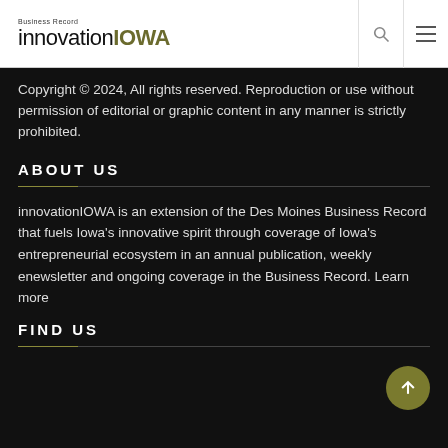Business Record innovationIOWA
Copyright © 2024, All rights reserved. Reproduction or use without permission of editorial or graphic content in any manner is strictly prohibited.
ABOUT US
innovationIOWA is an extension of the Des Moines Business Record that fuels Iowa's innovative spirit through coverage of Iowa's entrepreneurial ecosystem in an annual publication, weekly enewsletter and ongoing coverage in the Business Record. Learn more
FIND US